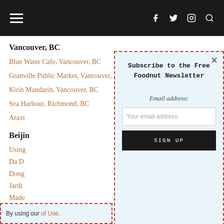Navigation bar with hamburger menu and social icons (Facebook, Twitter, Instagram, Search)
Vancouver, BC
Blue Water Cafe, Vancouver, BC
Granville Public Market, Vancouver, BC
Kirin Mandarin, Vancouver, BC
Sea Harbour, Richmond, BC
Araxt...
Beijin...
Using...
Da D...
Dong...
Jardi...
Made...
By using our... of Use.
Subscribe to the Free Foodnut Newsletter
Email address:
Your email address
SIGN UP